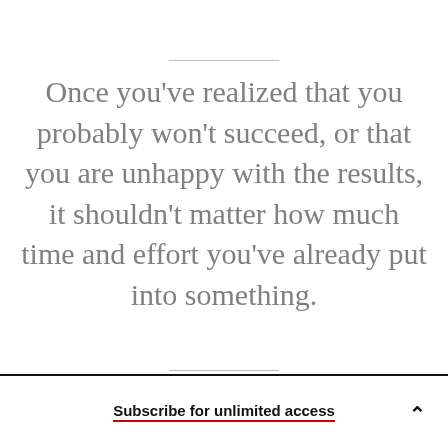Once you've realized that you probably won't succeed, or that you are unhappy with the results, it shouldn't matter how much time and effort you've already put into something.
Subscribe for unlimited access